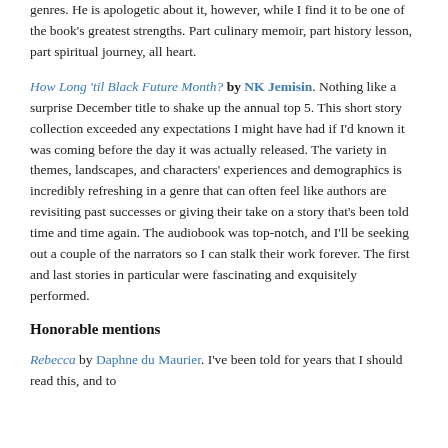genres. He is apologetic about it, however, while I find it to be one of the book's greatest strengths. Part culinary memoir, part history lesson, part spiritual journey, all heart.
How Long 'til Black Future Month? by NK Jemisin. Nothing like a surprise December title to shake up the annual top 5. This short story collection exceeded any expectations I might have had if I'd known it was coming before the day it was actually released. The variety in themes, landscapes, and characters' experiences and demographics is incredibly refreshing in a genre that can often feel like authors are revisiting past successes or giving their take on a story that's been told time and time again. The audiobook was top-notch, and I'll be seeking out a couple of the narrators so I can stalk their work forever. The first and last stories in particular were fascinating and exquisitely performed.
Honorable mentions
Rebecca by Daphne du Maurier. I've been told for years that I should read this, and to